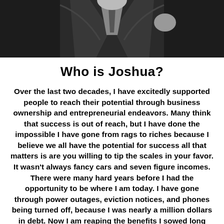[Figure (photo): Black and white photo of a man in a suit, cropped at the top of the page showing upper body only]
Who is Joshua?
Over the last two decades, I have excitedly supported people to reach their potential through business ownership and entrepreneurial endeavors. Many think that success is out of reach, but I have done the impossible I have gone from rags to riches because I believe we all have the potential for success all that matters is are you willing to tip the scales in your favor. It wasn't always fancy cars and seven figure incomes. There were many hard years before I had the opportunity to be where I am today. I have gone through power outages, eviction notices, and phones being turned off, because I was nearly a million dollars in debt. Now I am reaping the benefits I sowed long ago.